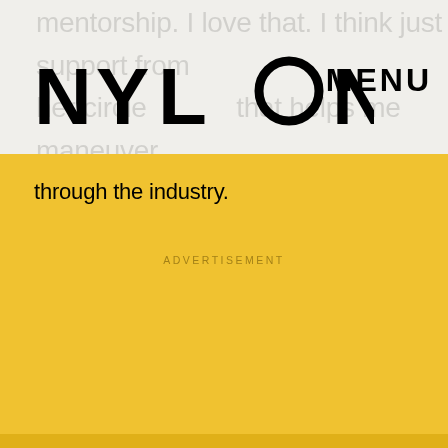mentorship. I love that. I think just support from her circle that helps me maneuver through the industry.
NYLON
MENU
through the industry.
ADVERTISEMENT